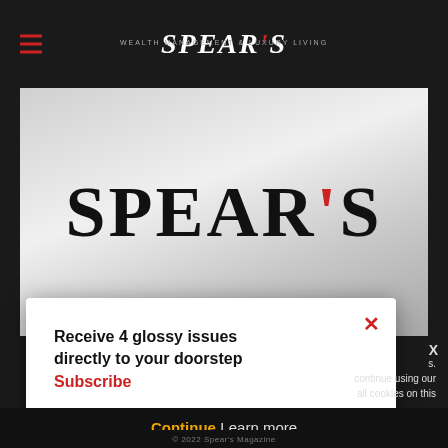SPEAR'S
[Figure (logo): Spear's magazine logo on grey gradient background]
Receive 4 glossy issues directly to your doorstep
Subscribe
continue using our all cookies on this
Continue   Learn more
© 2022 Spear's Magazine